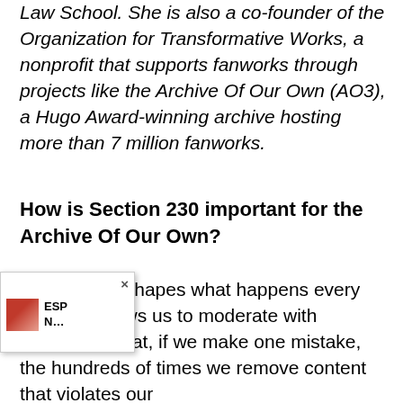Law School. She is also a co-founder of the Organization for Transformative Works, a nonprofit that supports fanworks through projects like the Archive Of Our Own (AO3), a Hugo Award-winning archive hosting more than 7 million fanworks.
How is Section 230 important for the Archive Of Our Own?
Section 230 shapes what happens every day — it allows us to moderate with confidence that, if we make one mistake, the hundreds of times we remove content that violates our policies won't be held against us. 230 is vital allowing our volunteers who handle abuse plaints to make reasonable decisions out having a lawyer review every ticket